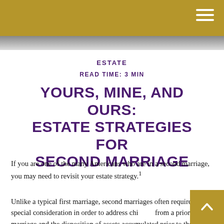ESTATE
READ TIME: 3 MIN
YOURS, MINE, AND OURS: ESTATE STRATEGIES FOR SECOND MARRIAGE
If you are one of the many Americans who are in a second marriage, you may need to revisit your estate strategy.¹
Unlike a typical first marriage, second marriages often require special consideration in order to address children from a prior marriage and the disposition of assets accumulated prior to the second marriage.